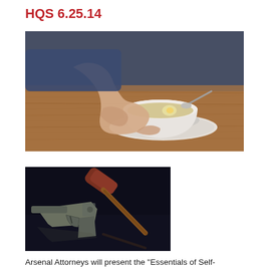HQS 6.25.14
[Figure (photo): Close-up photo of a person's hands holding a white ceramic bowl of soup with a spoon, set on a wooden table. The person is wearing a dark blue sleeve.]
[Figure (photo): Photo of a handgun and a wooden judge's gavel placed together on a dark reflective surface.]
Arsenal Attorneys will present the "Essentials of Self-